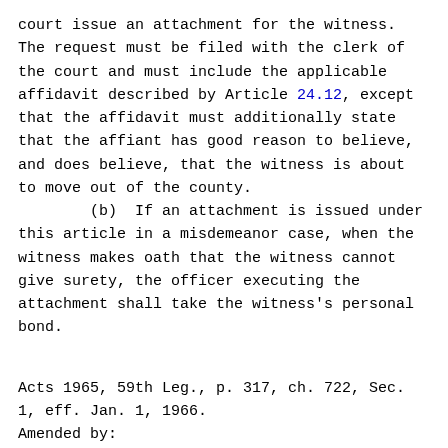court issue an attachment for the witness. The request must be filed with the clerk of the court and must include the applicable affidavit described by Article 24.12, except that the affidavit must additionally state that the affiant has good reason to believe, and does believe, that the witness is about to move out of the county.
        (b)  If an attachment is issued under this article in a misdemeanor case, when the witness makes oath that the witness cannot give surety, the officer executing the attachment shall take the witness's personal bond.
Acts 1965, 59th Leg., p. 317, ch. 722, Sec. 1, eff. Jan. 1, 1966.
Amended by:
        Acts 2017, 85th Leg., R.S., Ch. 292